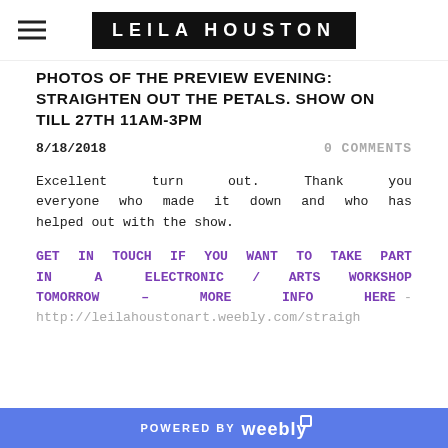LEILA HOUSTON
PHOTOS OF THE PREVIEW EVENING: STRAIGHTEN OUT THE PETALS. SHOW ON TILL 27TH 11AM-3PM
8/18/2018   0 COMMENTS
Excellent turn out. Thank you everyone who made it down and who has helped out with the show.
GET IN TOUCH IF YOU WANT TO TAKE PART IN A ELECTRONIC / ARTS WORKSHOP TOMORROW – more info here - http://leilahoustonart.weebly.com/straigh
POWERED BY weebly